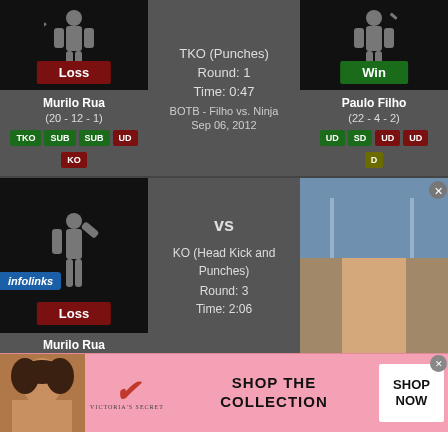[Figure (screenshot): MMA fight result card showing Murilo Rua (Loss) vs Paulo Filho (Win), TKO Punches, Round 1, Time 0:47, BOTB - Filho vs. Ninja, Sep 06 2012]
Murilo Rua
(20 - 12 - 1)
TKO (Punches)
Round: 1
Time: 0:47
BOTB - Filho vs. Ninja
Sep 06, 2012
Paulo Filho
(22 - 4 - 2)
[Figure (screenshot): Second MMA fight card showing Murilo Rua (Loss) vs opponent photo, KO Head Kick and Punches, Round 3, Time 2:06]
vs
KO (Head Kick and Punches)
Round: 3
Time: 2:06
Murilo Rua
[Figure (photo): Photo of shirtless male MMA fighter smiling in gym]
[Figure (infographic): Victoria's Secret advertisement banner: SHOP THE COLLECTION with SHOP NOW button]
SHOP THE COLLECTION
SHOP NOW
VICTORIA'S SECRET